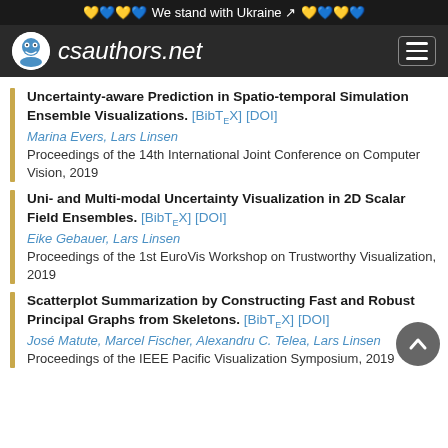We stand with Ukraine — csauthors.net
Uncertainty-aware Prediction in Spatio-temporal Simulation Ensemble Visualizations. [BibTeX] [DOI] Marina Evers, Lars Linsen. Proceedings of the 14th International Joint Conference on Computer Vision, 2019
Uni- and Multi-modal Uncertainty Visualization in 2D Scalar Field Ensembles. [BibTeX] [DOI] Eike Gebauer, Lars Linsen. Proceedings of the 1st EuroVis Workshop on Trustworthy Visualization, 2019
Scatterplot Summarization by Constructing Fast and Robust Principal Graphs from Skeletons. [BibTeX] [DOI] José Matute, Marcel Fischer, Alexandru C. Telea, Lars Linsen. Proceedings of the IEEE Pacific Visualization Symposium, 2019